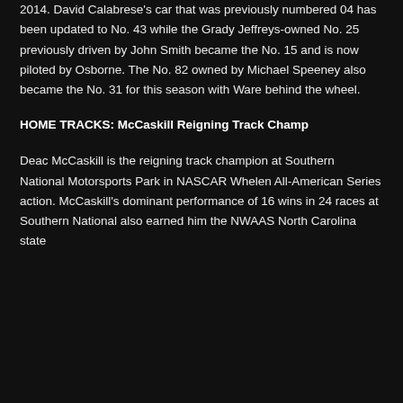2014. David Calabrese's car that was previously numbered 04 has been updated to No. 43 while the Grady Jeffreys-owned No. 25 previously driven by John Smith became the No. 15 and is now piloted by Osborne. The No. 82 owned by Michael Speeney also became the No. 31 for this season with Ware behind the wheel.
HOME TRACKS:  McCaskill Reigning Track Champ
Deac McCaskill is the reigning track champion at Southern National Motorsports Park in NASCAR Whelen All-American Series action. McCaskill's dominant performance of 16 wins in 24 races at Southern National also earned him the NWAAS North Carolina state